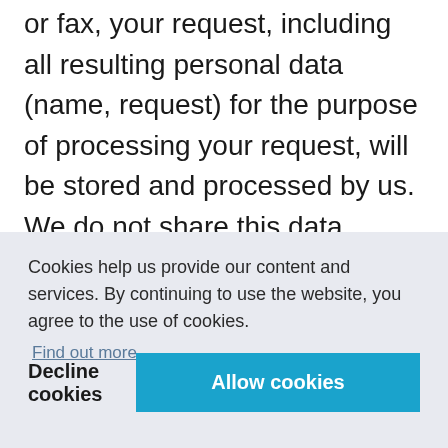or fax, your request, including all resulting personal data (name, request) for the purpose of processing your request, will be stored and processed by us. We do not share this data without your consent.
Cookies help us provide our content and services. By continuing to use the website, you agree to the use of cookies.
Find out more
Decline cookies
Allow cookies
(Art. for Art. 6 lit. a GDPR)